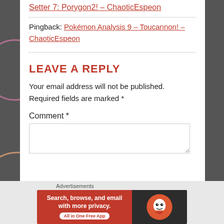Setter 7: Porygon2! – ChaoticEspeon
Pingback: Pokémon Analysis 9 – Toucannon! – ChaoticEspeon
LEAVE A REPLY
Your email address will not be published. Required fields are marked *
Comment *
[Figure (other): DuckDuckGo advertisement banner: Search, browse, and email with more privacy. All in One Free App]
Advertisements